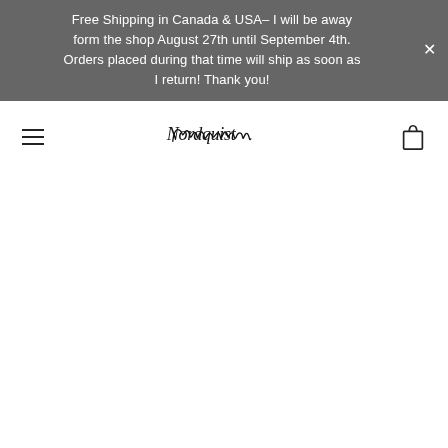Free Shipping in Canada & USA– I will be away form the shop August 27th until September 4th. Orders placed during that time will ship as soon as I return! Thank you!
[Figure (logo): Nordquist cursive signature logo in black on white background, with hamburger menu icon on left and shopping bag icon on right]